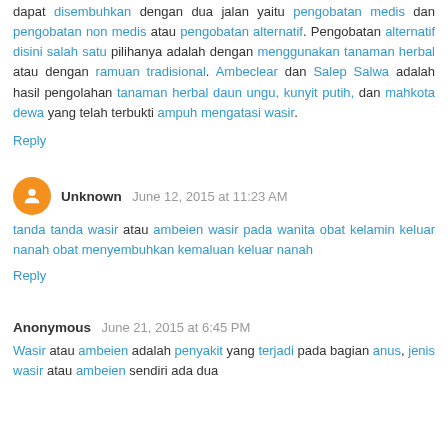dapat disembuhkan dengan dua jalan yaitu pengobatan medis dan pengobatan non medis atau pengobatan alternatif. Pengobatan alternatif disini salah satu pilihanya adalah dengan menggunakan tanaman herbal atau dengan ramuan tradisional. Ambeclear dan Salep Salwa adalah hasil pengolahan tanaman herbal daun ungu, kunyit putih, dan mahkota dewa yang telah terbukti ampuh mengatasi wasir.
Reply
Unknown  June 12, 2015 at 11:23 AM
tanda tanda wasir atau ambeien wasir pada wanita obat kelamin keluar nanah obat menyembuhkan kemaluan keluar nanah
Reply
Anonymous  June 21, 2015 at 6:45 PM
Wasir atau ambeien adalah penyakit yang terjadi pada bagian anus, jenis wasir atau ambeien sendiri ada dua